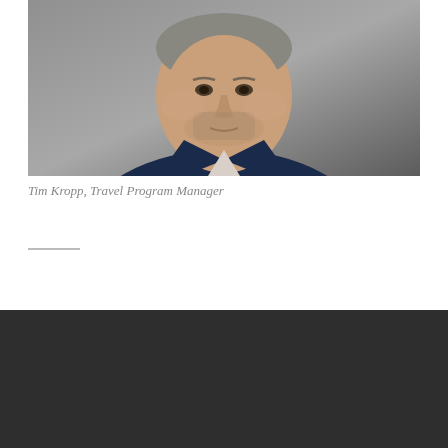[Figure (photo): Headshot photograph of a middle-aged man with grey stubble, wearing a navy blue blazer and open-collar white/light shirt, photographed against a grey background. The image shows the person from shoulders up.]
Tim Kropp, Travel Program Manager
HELPFUL LINKS
Parking and Transportation Options
Our Offices